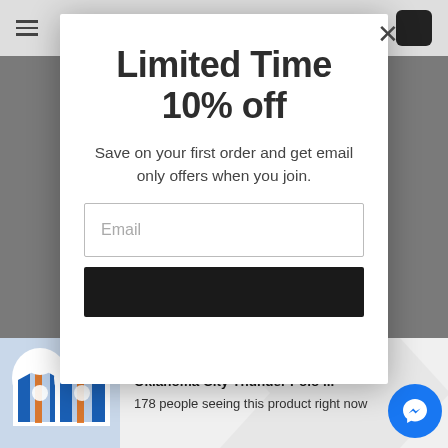Limited Time 10% off
Save on your first order and get email only offers when you join.
[Figure (screenshot): Email input field placeholder]
[Figure (screenshot): Dark submit button]
Oklahoma City Thunder Polo ...
178 people seeing this product right now